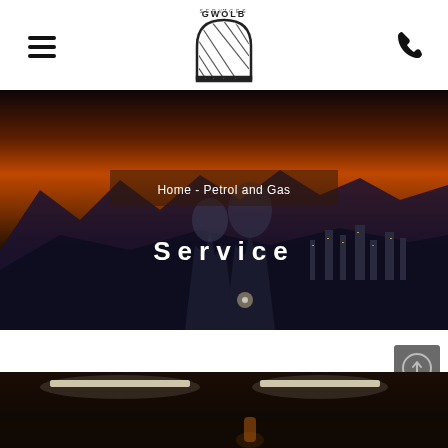[Figure (logo): GWÖLB company logo - arched doorway with hatching, text 'GWÖLB' above]
≡  GWÖLB logo  ☎
[Figure (photo): Industrial landscape at dusk with cooling towers, city lights, mountain silhouette against orange-red sky]
Home  -  Petrol and Gas
Service
[Figure (photo): Industrial interior with overhead strip lighting, worker visible at bottom]